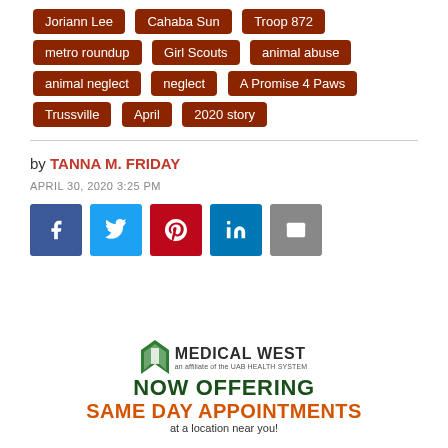Joriann Lee
Cahaba Sun
Troop 872
metro roundup
Girl Scouts
animal abuse
animal neglect
neglect
A Promise 4 Paws
Trussville
April
2020 story
by TANNA M. FRIDAY
APRIL 30, 2020 3:25 PM
[Figure (logo): Medical West health system logo with text: MEDICAL WEST an affiliate of the UAB HEALTH SYSTEM, NOW OFFERING, SAME DAY APPOINTMENTS, at a location near you!]